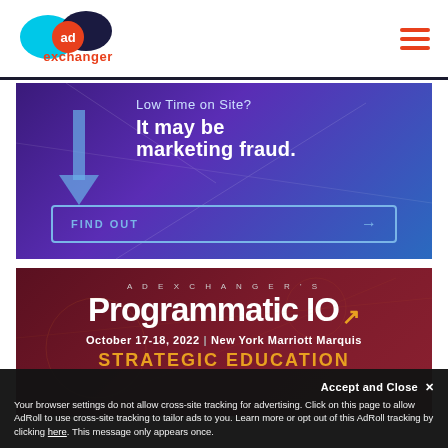[Figure (logo): AdExchanger logo with two overlapping circles (cyan and dark navy) with orange 'ad' circle in the middle, and 'exchanger' text in orange below]
[Figure (infographic): Purple/blue gradient ad banner reading: 'Low Time on Site? It may be marketing fraud.' with a FIND OUT button at the bottom with an arrow]
[Figure (infographic): Dark red ad banner for AdExchanger's Programmatic IO event. October 17-18, 2022 | New York Marriott Marquis. STRATEGIC EDUCATION text at bottom in gold.]
Your browser settings do not allow cross-site tracking for advertising. Click on this page to allow AdRoll to use cross-site tracking to tailor ads to you. Learn more or opt out of this AdRoll tracking by clicking here. This message only appears once.